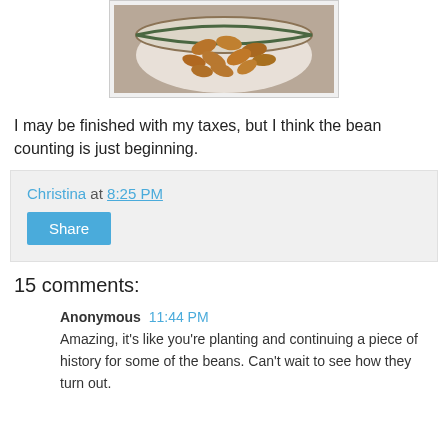[Figure (photo): Overhead photo of a bowl filled with pinto/kidney beans on a cloth surface]
I may be finished with my taxes, but I think the bean counting is just beginning.
Christina at 8:25 PM
Share
15 comments:
Anonymous 11:44 PM
Amazing, it's like you're planting and continuing a piece of history for some of the beans. Can't wait to see how they turn out.